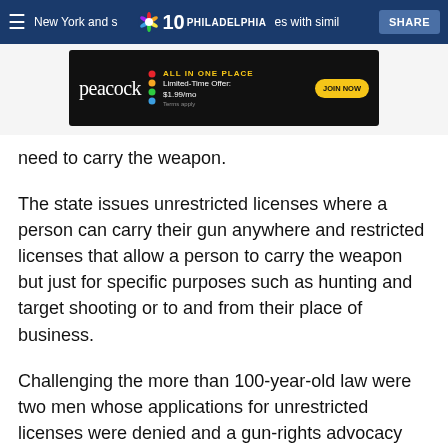NBC10 Philadelphia — SHARE
[Figure (other): Peacock streaming service advertisement banner: ALL IN ONE PLACE, Limited-Time Offer: $1.99/mo, JOIN NOW, Terms apply]
need to carry the weapon.
The state issues unrestricted licenses where a person can carry their gun anywhere and restricted licenses that allow a person to carry the weapon but just for specific purposes such as hunting and target shooting or to and from their place of business.
Challenging the more than 100-year-old law were two men whose applications for unrestricted licenses were denied and a gun-rights advocacy group. The case, New York State Rifle & Pistol Association Inc. v. Bruen, was argued before